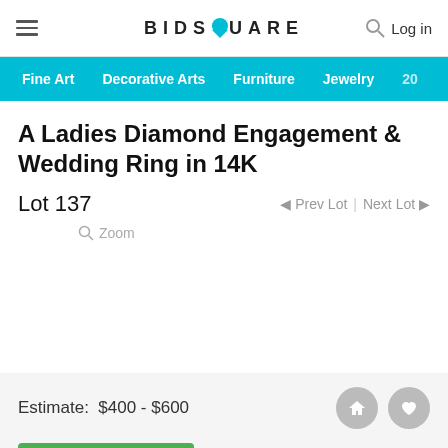BIDSQUARE — Log in
Fine Art   Decorative Arts   Furniture   Jewelry   20...
A Ladies Diamond Engagement & Wedding Ring in 14K
Lot 137   ◄ Prev Lot | Next Lot ►
🔍 Zoom
Estimate:  $400 - $600
Login for Price
Absentee vs Live bid  ?